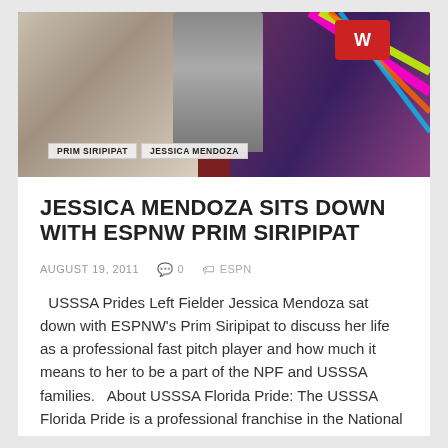[Figure (photo): TV interview screenshot showing two women — one with long dark hair in white jacket on the left, and one in floral top on the right — with a microphone bearing a red logo held between them. Name chyrons at the bottom read 'PRIM SIRIPIPAT' and 'JESSICA MENDOZA'. Colorful diagonal lines visible on the right side against a dark red studio background.]
JESSICA MENDOZA SITS DOWN WITH ESPNW PRIM SIRIPIPAT
AUGUST 19, 2011   0   ESPN
USSSA Prides Left Fielder Jessica Mendoza sat down with ESPNW's Prim Siripipat to discuss her life as a professional fast pitch player and how much it means to her to be a part of the NPF and USSSA families.   About USSSA Florida Pride: The USSSA Florida Pride is a professional franchise in the National Pro Fastpitch League…